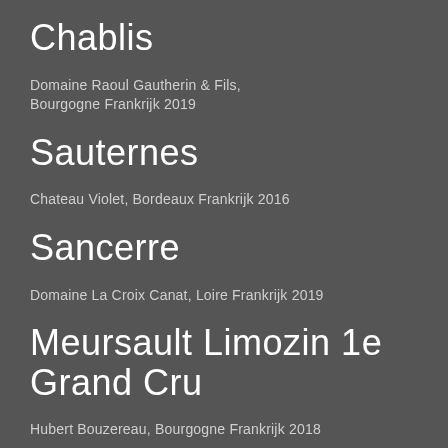Chablis
Domaine Raoul Gautherin & Fils, Bourgogne Frankrijk 2019
Sauternes
Chateau Violet, Bordeaux Frankrijk 2016
Sancerre
Domaine La Croix Canat, Loire Frankrijk 2019
Meursault Limozin 1e Grand Cru
Hubert Bouzereau, Bourgogne Frankrijk 2018